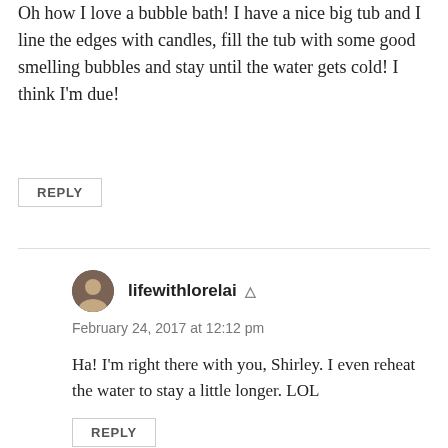Oh how I love a bubble bath! I have a nice big tub and I line the edges with candles, fill the tub with some good smelling bubbles and stay until the water gets cold! I think I'm due!
REPLY
lifewithlorelai
February 24, 2017 at 12:12 pm
Ha! I'm right there with you, Shirley. I even reheat the water to stay a little longer. LOL
REPLY
Sara @ finditfixitorbuildit.com
February 25, 2017 at 8:40 am